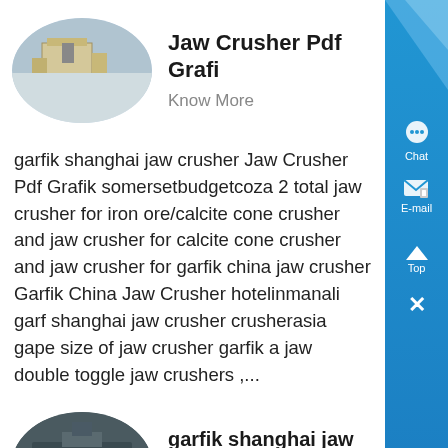[Figure (photo): Oval-shaped photo of industrial machinery (yellow/white structure) in an outdoor setting]
Jaw Crusher Pdf Grafi
Know More
garfik shanghai jaw crusher Jaw Crusher Pdf Grafik somersetbudgetcoza 2 total jaw crusher for iron ore/calcite cone crusher and jaw crusher for calcite cone crusher and jaw crusher for garfik china jaw crusher Garfik China Jaw Crusher hotelinmanali garf shanghai jaw crusher crusherasia gape size of jaw crusher garfik a jaw double toggle jaw crushers ,...
[Figure (photo): Oval-shaped dark photo of industrial equipment, possibly a mining or crushing operation]
garfik shanghai jaw crusher
Know More